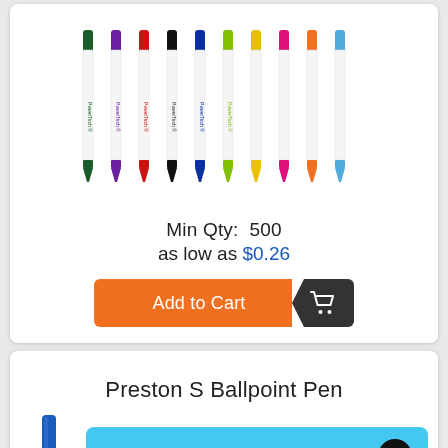[Figure (photo): Row of 10 white ballpoint pens with different colored accents (dark green, purple, red, black, dark blue, lime green, yellow, pink, orange, light blue), each printed with a logo, displayed vertically side by side]
Min Qty:  500
as low as $0.26
[Figure (other): Orange and dark 'Add to Cart' button with shopping cart icon]
Preston S Ballpoint Pen
[Figure (photo): Partial image of a blue pen]
Leave a message